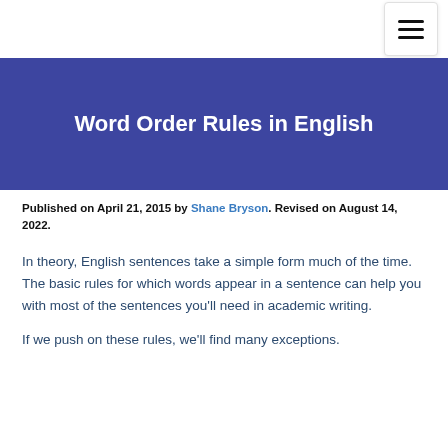Word Order Rules in English
Published on April 21, 2015 by Shane Bryson. Revised on August 14, 2022.
In theory, English sentences take a simple form much of the time. The basic rules for which words appear in a sentence can help you with most of the sentences you'll need in academic writing.
If we push on these rules, we'll find many exceptions.